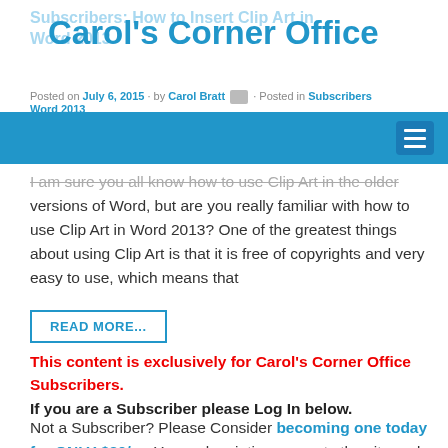Subscribers: How to Insert Clip Art in Word 2013
Carol's Corner Office
Posted on July 6, 2015 · by Carol Bratt · Posted in Subscribers Word 2013
I am sure you all know how to use Clip Art in the older versions of Word, but are you really familiar with how to use Clip Art in Word 2013? One of the greatest things about using Clip Art is that it is free of copyrights and very easy to use, which means that
READ MORE...
This content is exclusively for Carol's Corner Office Subscribers.
If you are a Subscriber please Log In below.
Not a Subscriber? Please Consider becoming one today for ONLY $20/yr. Your subscription supports the site and gives you access to many exclusive resources not